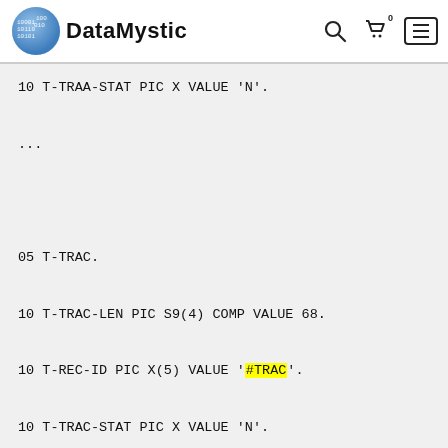DataMystic
10 T-TRAA-STAT PIC X VALUE 'N'.

...



05 T-TRAC.

10 T-TRAC-LEN PIC S9(4) COMP VALUE 68.

10 T-REC-ID PIC X(5) VALUE '#TRAC'.

10 T-TRAC-STAT PIC X VALUE 'N'.

...



05 T-TRAD.